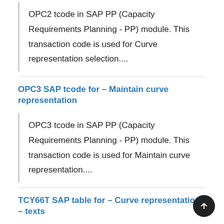OPC2 tcode in SAP PP (Capacity Requirements Planning - PP) module. This transaction code is used for Curve representation selection....
OPC3 SAP tcode for – Maintain curve representation
OPC3 tcode in SAP PP (Capacity Requirements Planning - PP) module. This transaction code is used for Maintain curve representation....
TCY66T SAP table for – Curve representation – texts
TCY66T table in SAP PP (Capacity